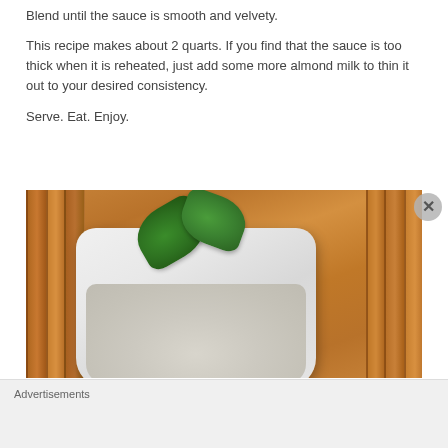Blend until the sauce is smooth and velvety.
This recipe makes about 2 quarts. If you find that the sauce is too thick when it is reheated, just add some more almond milk to thin it out to your desired consistency.
Serve. Eat. Enjoy.
[Figure (photo): A white square dish filled with creamy pale grey sauce, garnished with two fresh green basil leaves, placed on a wooden slat surface (brown wood planks).]
Advertisements